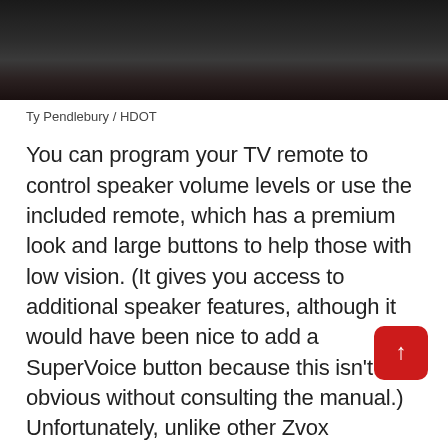[Figure (photo): Dark photograph showing the top edge of a soundbar or TV speaker unit, close-up with dark brown/black tones.]
Ty Pendlebury / HDOT
You can program your TV remote to control speaker volume levels or use the included remote, which has a premium look and large buttons to help those with low vision. (It gives you access to additional speaker features, although it would have been nice to add a SuperVoice button because this isn't obvious without consulting the manual.) Unfortunately, unlike other Zvox speakers I've tested, the AV357 doesn't have controls. above the unit. This could be a problem if, like me, you lose your remote and need to turn the sound down quickly.
The soundbar is powered by a 24-watt Class D digital